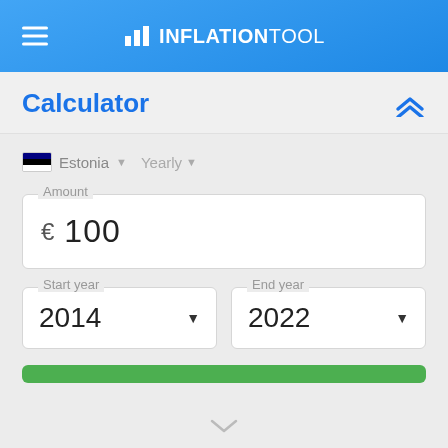INFLATIONTOOL
Calculator
Estonia  Yearly
Amount  € 100
Start year  2014
End year  2022